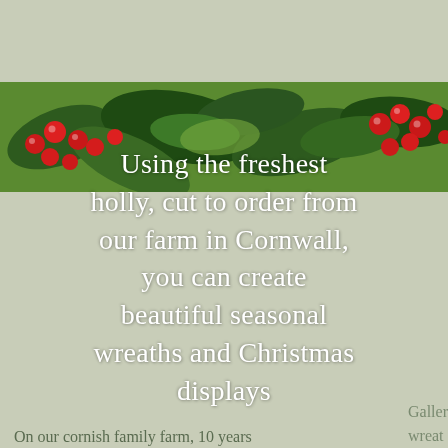[Figure (photo): Close-up photograph of holly branches with bright red berries and dark green glossy leaves against a green background]
Using the freshest holly, cut to order from our farm in Cornwall, you can create beautiful seasonal wreaths and Christmas displays
On our cornish family farm, 10 years
Galler
wreat